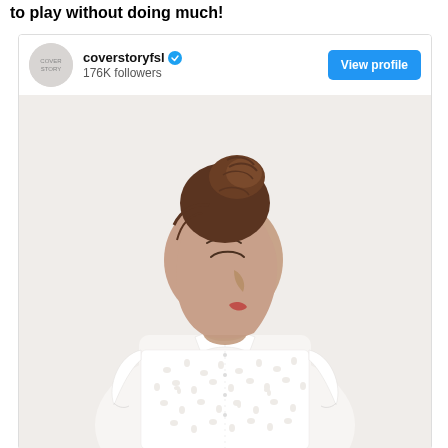to play without doing much!
[Figure (screenshot): Instagram profile card for coverstoryfsl with 176K followers, showing a woman with hair in a bun wearing a white eyelet lace short-sleeve button-up shirt, looking downward against a light background. A blue 'View profile' button is visible top right.]